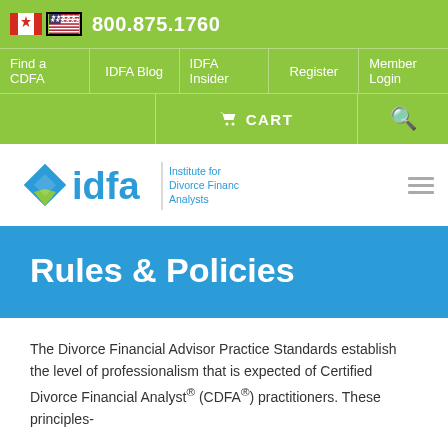800.875.1760
Find a CDFA | IDFA Blog | IDFA Insider | Register | Member Login
CART | Search
[Figure (logo): IDFA - Institute for Divorce Financial Analysts logo with blue diamond/arrow shapes and blue text]
Rules & Policies
The Divorce Financial Advisor Practice Standards establish the level of professionalism that is expected of Certified Divorce Financial Analyst® (CDFA®) practitioners. These principles-